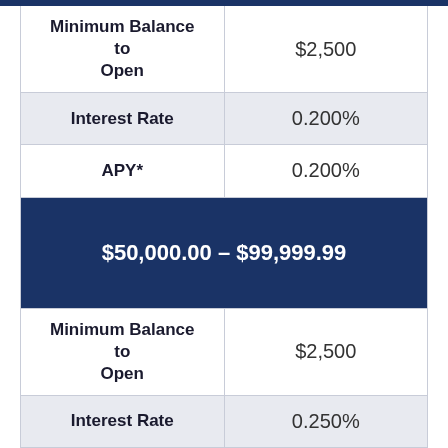| Minimum Balance to Open | $2,500 |
| Interest Rate | 0.200% |
| APY* | 0.200% |
| $50,000.00 – $99,999.99 |  |
| Minimum Balance to Open | $2,500 |
| Interest Rate | 0.250% |